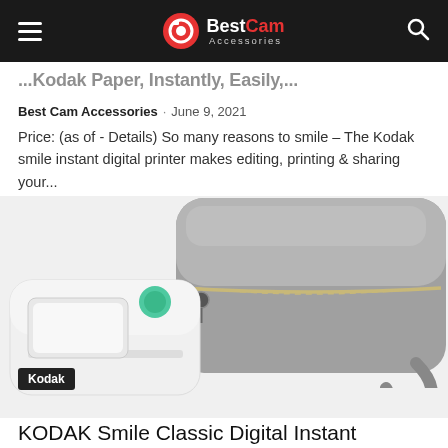BestCam Accessories
...Kodak Smile Paper, Instantly, Easily,...
Best Cam Accessories · June 9, 2021
Price: (as of - Details) So many reasons to smile – The Kodak smile instant digital printer makes editing, printing & sharing your...
[Figure (photo): Photo of a grey leather zip-around wristlet wallet and a white Kodak Smile instant digital printer device with a teal/green button, displayed together on a white background. A 'Kodak' label badge appears in the bottom-left corner of the image.]
KODAK Smile Classic Digital Instant Camera with Bluetooth (Green) Grey Wrislet